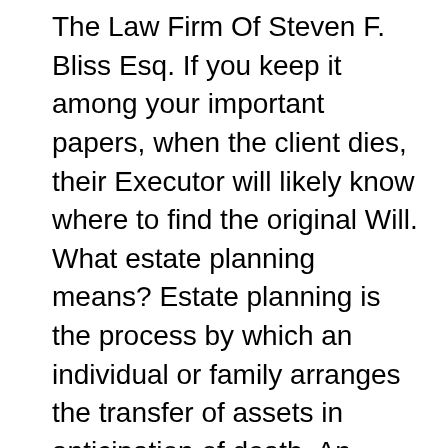The Law Firm Of Steven F. Bliss Esq. If you keep it among your important papers, when the client dies, their Executor will likely know where to find the original Will. What estate planning means? Estate planning is the process by which an individual or family arranges the transfer of assets in anticipation of death. An estate plan aims to preserve the maximum amount of wealth possible for the intended beneficiaries and flexibility for the individual prior to death. Unmattched Your estate plan should include provisions for any children, including naming a guardian for children under age 18 and providing for those from a previous marriage that might not be specifically addressed by leaving assets to a current spouse. To prepare a Living Will, you should be at the very least 18 years of age and also be mentally competent.